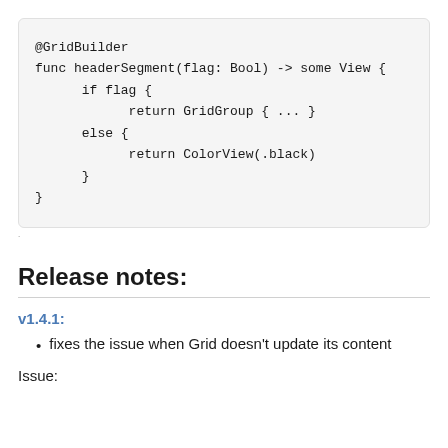@GridBuilder
func headerSegment(flag: Bool) -> some View {
    if flag {
        return GridGroup { ... }
    else {
        return ColorView(.black)
    }
}
·
Release notes:
v1.4.1:
fixes the issue when Grid doesn't update its content
Issue: